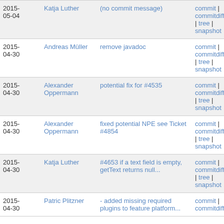| Date | Author | Message | Links |
| --- | --- | --- | --- |
| 2015-05-04 | Katja Luther | (no commit message) | commit | commitdiff | tree | snapshot |
| 2015-04-30 | Andreas Müller | remove javadoc | commit | commitdiff | tree | snapshot |
| 2015-04-30 | Alexander Oppermann | potential fix for #4535 | commit | commitdiff | tree | snapshot |
| 2015-04-30 | Alexander Oppermann | fixed potential NPE see Ticket #4854 | commit | commitdiff | tree | snapshot |
| 2015-04-30 | Katja Luther | #4653 if a text field is empty, getText returns null... | commit | commitdiff | tree | snapshot |
| 2015-04-30 | Patric Plitzner | - added missing required plugins to feature platform... | commit | commitdiff |